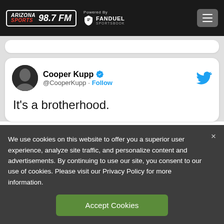Arizona Sports 98.7 FM — Powered By FanDuel Sportsbook
[Figure (screenshot): Partially visible white card at top]
[Figure (screenshot): Tweet card from Cooper Kupp (@CooperKupp) with verified badge, showing: It's a brotherhood.]
Cooper Kupp @CooperKupp · Follow
It's a brotherhood.
We use cookies on this website to offer you a superior user experience, analyze site traffic, and personalize content and advertisements. By continuing to use our site, you consent to our use of cookies. Please visit our Privacy Policy for more information.
Accept Cookies